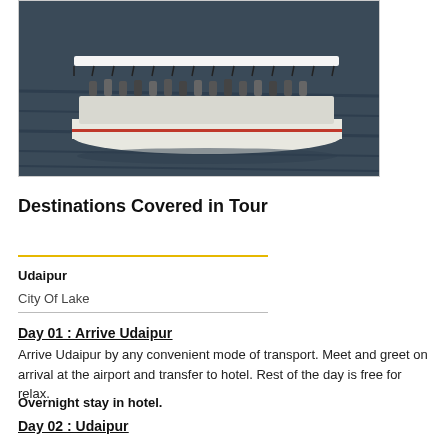[Figure (photo): A white tourist boat/ferry filled with passengers cruising on dark water, viewed from above/side angle]
Destinations Covered in Tour
Udaipur
City Of Lake
Day 01 : Arrive Udaipur
Arrive Udaipur by any convenient mode of transport. Meet and greet on arrival at the airport and transfer to hotel. Rest of the day is free for relax.
Overnight stay in hotel.
Day 02 : Udaipur
After breakfast take a sightseeing tour of Udaipur visiting City Palace Complex visit Durbar Hall, Crystal Gallery, Palace Museum and Jagdish Temple. City Palace is considered as the largest palace complex in Rajasthan.
Later visit Saheli Ki Bari that is a small ornamental garden built in the honour of